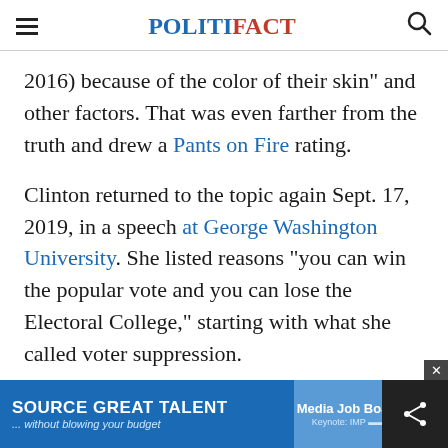POLITIFACT
2016) because of the color of their skin" and other factors. That was even farther from the truth and drew a Pants on Fire rating.
Clinton returned to the topic again Sept. 17, 2019, in a speech at George Washington University. She listed reasons "you can win the popular vote and you can lose the Electoral College," starting with what she called voter suppression.
"Expo... to 20...